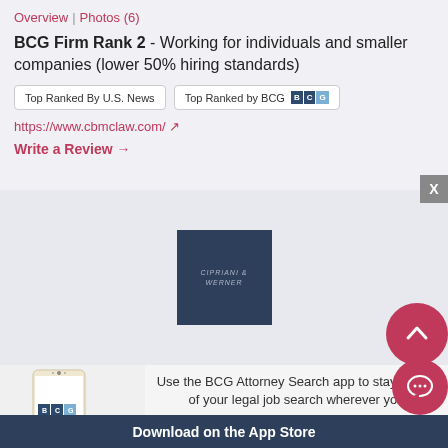Overview | Photos (6)
BCG Firm Rank 2 - Working for individuals and smaller companies (lower 50% hiring standards)
Top Ranked By U.S. News | Top Ranked by BCG
https://www.cbmclaw.com/
Write a Review →
[Figure (logo): Cipriani & Werner dark blue square logo]
[Figure (screenshot): BCG Attorney Search mobile app screenshot on a smartphone]
Use the BCG Attorney Search app to stay on top of your legal job search wherever you
Download on the App Store